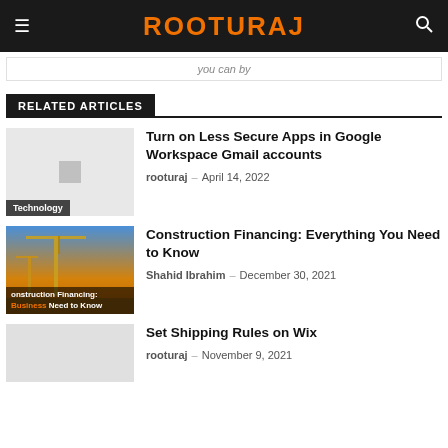ROOTURAJ
you can by
RELATED ARTICLES
Turn on Less Secure Apps in Google Workspace Gmail accounts
rooturaj – April 14, 2022
Construction Financing: Everything You Need to Know
Shahid Ibrahim – December 30, 2021
Set Shipping Rules on Wix
rooturaj – November 9, 2021